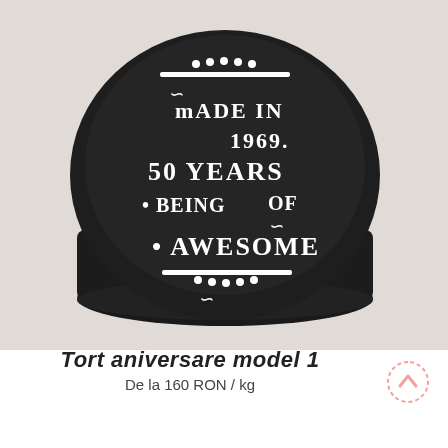[Figure (photo): A round black fondant cake decorated with white lettering reading 'Made in 1969. 50 Years of Being Awesome' with ornamental flourishes and dots on top]
Tort aniversare model 1
De la 160 RON / kg